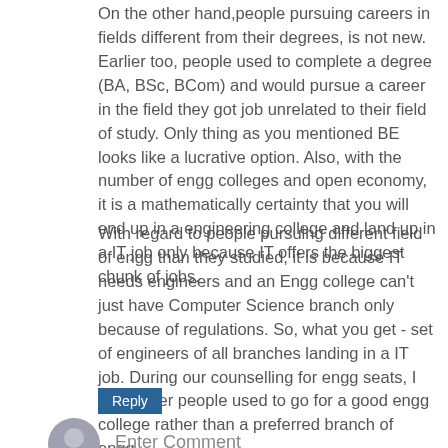On the other hand,people pursuing careers in fields different from their degrees, is not new. Earlier too, people used to complete a degree (BA, BSc, BCom) and would pursue a career in the field they got job unrelated to their field of study. Only thing as you mentioned BE looks like a lucrative option. Also, with the number of engg colleges and open economy, it is a mathematically certainty that you will end up in a engineering college and land up in a IT job only because IT offers the biggest chunk of jobs.
With regard to people pursuing different field of engg than they studied, it is because IT needs engineers and an Engg college can't just have Computer Science branch only because of regulations. So, what you get - set of engineers of all branches landing in a IT job. During our counselling for engg seats, I remember people used to go for a good engg college rather than a preferred branch of engg.
Reply
Enter Comment